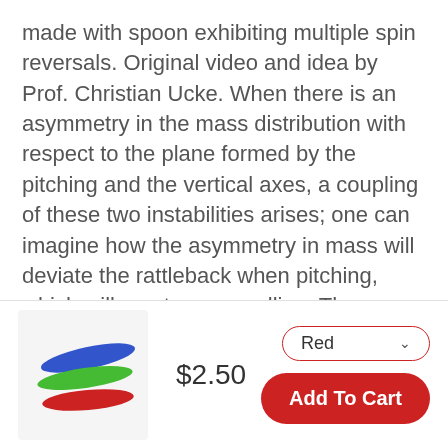made with spoon exhibiting multiple spin reversals. Original video and idea by Prof. Christian Ucke. When there is an asymmetry in the mass distribution with respect to the plane formed by the pitching and the vertical axes, a coupling of these two instabilities arises; one can imagine how the asymmetry in mass will deviate the rattleback when pitching, which will create some rolling. The amplified mode will differ depending on the spin direction, which explains the rattleback's asymmetrical behavior. Depending on whether it is rather a pitching or rolling instability that dominates, the growth rate will be very high or quite low.
[Figure (photo): Product image of colorful rattleback spinners in blue, green, and red colors]
$2.50
Red (dropdown selector)
Add To Cart